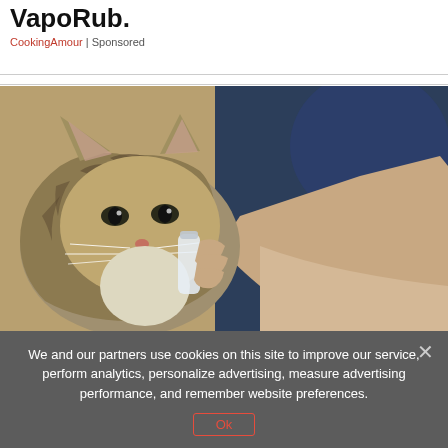VapoRub.
CookingAmour | Sponsored
[Figure (photo): A tabby cat licking or sniffing a small clear bottle held by a person wearing a light-colored shirt, with a dark blue background.]
We and our partners use cookies on this site to improve our service, perform analytics, personalize advertising, measure advertising performance, and remember website preferences.
Ok